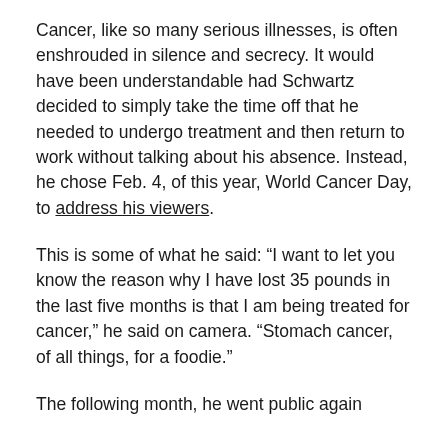Cancer, like so many serious illnesses, is often enshrouded in silence and secrecy. It would have been understandable had Schwartz decided to simply take the time off that he needed to undergo treatment and then return to work without talking about his absence. Instead, he chose Feb. 4, of this year, World Cancer Day, to address his viewers.
This is some of what he said: “I want to let you know the reason why I have lost 35 pounds in the last five months is that I am being treated for cancer,” he said on camera. “Stomach cancer, of all things, for a foodie.”
The following month, he went public again